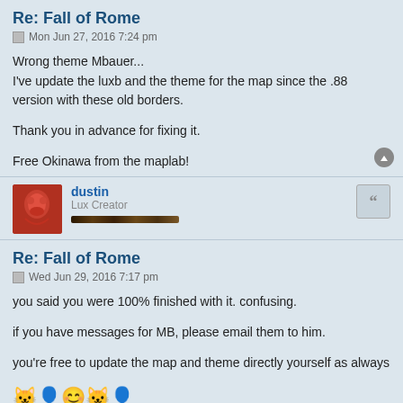Re: Fall of Rome
Mon Jun 27, 2016 7:24 pm
Wrong theme Mbauer...
I've update the luxb and the theme for the map since the .88 version with these old borders.

Thank you in advance for fixing it.

Free Okinawa from the maplab!
dustin
Lux Creator
Re: Fall of Rome
Wed Jun 29, 2016 7:17 pm
you said you were 100% finished with it. confusing.

if you have messages for MB, please email them to him.

you're free to update the map and theme directly yourself as always